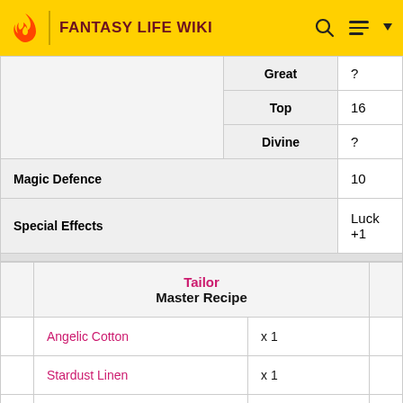FANTASY LIFE WIKI
|  | Quality | Value |
| --- | --- | --- |
|  | Great | ? |
|  | Top | 16 |
|  | Divine | ? |
| Magic Defence |  | 10 |
| Special Effects |  | Luck +1 |
|  | Tailor Master Recipe |  |
| --- | --- | --- |
| Angelic Cotton | x 1 |
| Stardust Linen | x 1 |
| Wonderful String | x 1 |